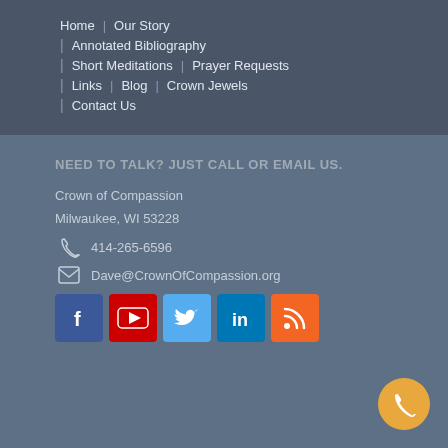Home | Our Story | Annotated Bibliography | Short Meditations | Prayer Requests | Links | Blog | Crown Jewels | Contact Us
NEED TO TALK? JUST CALL OR EMAIL US.
Crown of Compassion
Milwaukee, WI 53228
414-265-6596
Dave@CrownOfCompassion.org
[Figure (infographic): Social media icons: Facebook (blue), YouTube (red), Twitter (light blue), LinkedIn (dark blue), RSS (orange)]